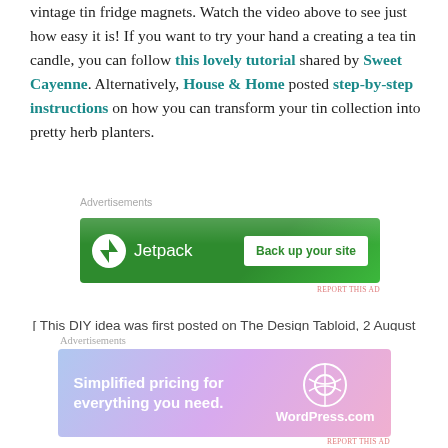vintage tin fridge magnets. Watch the video above to see just how easy it is! If you want to try your hand a creating a tea tin candle, you can follow this lovely tutorial shared by Sweet Cayenne. Alternatively, House & Home posted step-by-step instructions on how you can transform your tin collection into pretty herb planters.
Advertisements
[Figure (other): Jetpack advertisement banner with green background showing Jetpack logo and 'Back up your site' button]
[ This DIY idea was first posted on The Design Tabloid, 2 August 2012 | Quick Tip #16: Practical Pretty Tins ]
Advertisements
[Figure (other): WordPress.com advertisement banner with gradient background showing 'Simplified pricing for everything you need.' and WordPress.com logo]